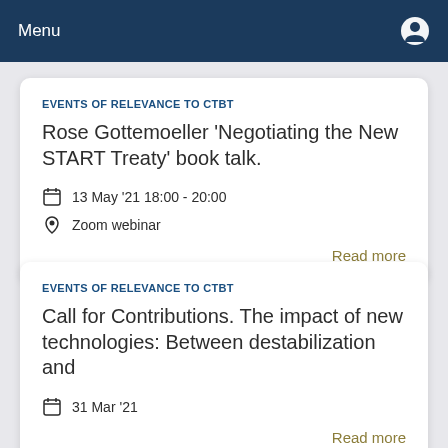Menu
EVENTS OF RELEVANCE TO CTBT
Rose Gottemoeller 'Negotiating the New START Treaty' book talk.
13 May '21 18:00 - 20:00
Zoom webinar
Read more
EVENTS OF RELEVANCE TO CTBT
Call for Contributions. The impact of new technologies: Between destabilization and
31 Mar '21
Read more